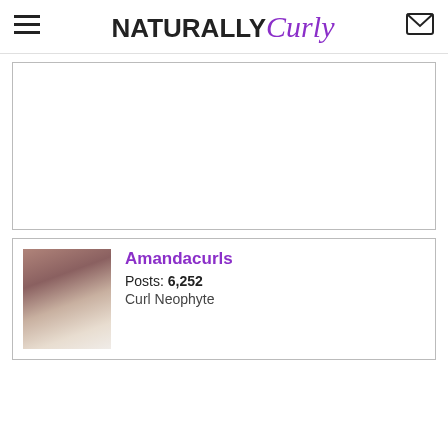NATURALLY Curly
[Figure (other): Large blank white content/advertisement box with border]
[Figure (photo): Profile card for user Amandacurls showing a wedding photo of a couple, with Posts: 6,252 and rank Curl Neophyte]